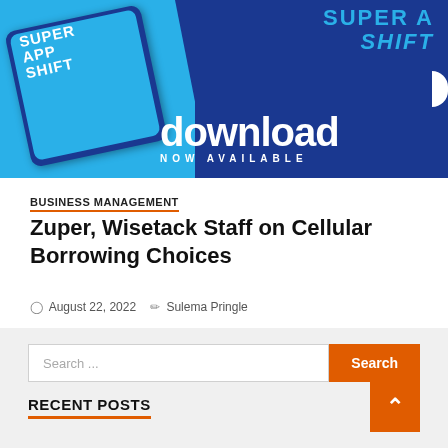[Figure (illustration): Banner advertisement for 'Super App Shift' download. Blue background with a tablet device on the left showing the Super App Shift cover. Bold white text 'download' with 'NOW AVAILABLE' below it. Cyan text 'SUPER APP SHIFT' on the right side.]
BUSINESS MANAGEMENT
Zuper, Wisetack Staff on Cellular Borrowing Choices
August 22, 2022  Sulema Pringle
[Figure (screenshot): Sidebar search box with placeholder text 'Search ...' and an orange Search button. An orange scroll-to-top button with a chevron arrow is visible below.]
RECENT POSTS